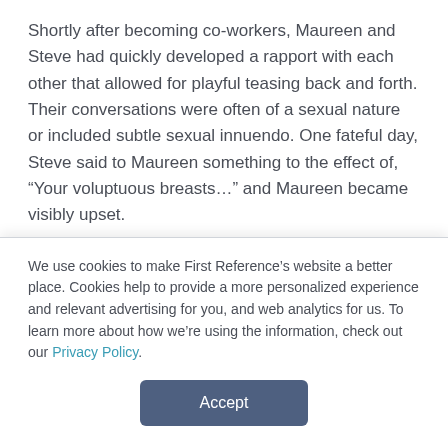Shortly after becoming co-workers, Maureen and Steve had quickly developed a rapport with each other that allowed for playful teasing back and forth. Their conversations were often of a sexual nature or included subtle sexual innuendo. One fateful day, Steve said to Maureen something to the effect of, “Your voluptuous breasts…” and Maureen became visibly upset.
Steve was instantly aware that his new office companion was deeply affected by what he said and approached her about it. Maureen advised Steve that his comment...
We use cookies to make First Reference’s website a better place. Cookies help to provide a more personalized experience and relevant advertising for you, and web analytics for us. To learn more about how we’re using the information, check out our Privacy Policy.